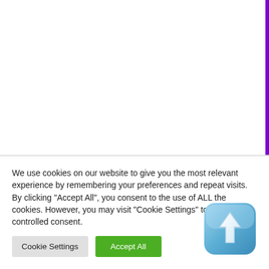[Figure (screenshot): White top section of a webpage with a vertical purple bar on the right side]
We use cookies on our website to give you the most relevant experience by remembering your preferences and repeat visits. By clicking "Accept All", you consent to the use of ALL the cookies. However, you may visit "Cookie Settings" to provide a controlled consent.
[Figure (illustration): Cookie Settings button (gray) and Accept All button (green) with a blue upload/arrow icon in bottom right corner]